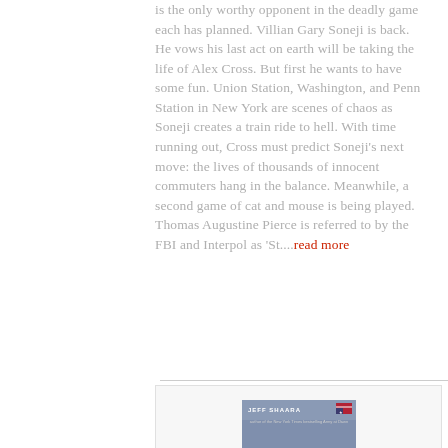is the only worthy opponent in the deadly game each has planned. Villian Gary Soneji is back. He vows his last act on earth will be taking the life of Alex Cross. But first he wants to have some fun. Union Station, Washington, and Penn Station in New York are scenes of chaos as Soneji creates a train ride to hell. With time running out, Cross must predict Soneji's next move: the lives of thousands of innocent commuters hang in the balance. Meanwhile, a second game of cat and mouse is being played. Thomas Augustine Pierce is referred to by the FBI and Interpol as 'St....read more
[Figure (photo): Book cover of 'The Steel Wave' by Jeff Shaara, showing a WWII battle scene with soldiers, a blue-gray sky upper portion and a red lower band with the title text.]
The Steel Wave by...